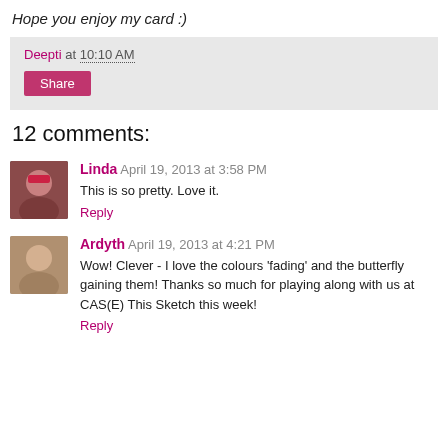Hope you enjoy my card :)
Deepti at 10:10 AM
Share
12 comments:
Linda April 19, 2013 at 3:58 PM
This is so pretty. Love it.
Reply
Ardyth April 19, 2013 at 4:21 PM
Wow! Clever - I love the colours 'fading' and the butterfly gaining them! Thanks so much for playing along with us at CAS(E) This Sketch this week!
Reply